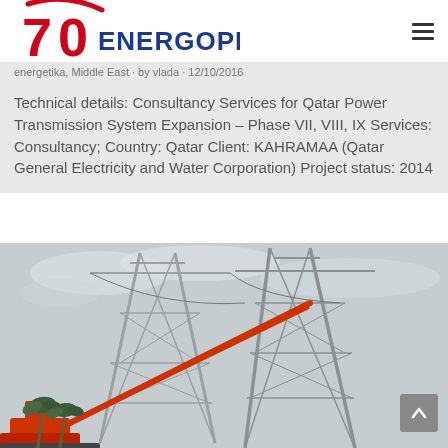ENERGOPROJEKT (logo with 70th anniversary mark)
energetika, Middle East · by vlada · 12/10/2016
Technical details: Consultancy Services for Qatar Power Transmission System Expansion – Phase VII, VIII, IX Services: Consultancy; Country: Qatar Client: KAHRAMAA (Qatar General Electricity and Water Corporation) Project status: 2014
[Figure (photo): Construction crane lifting steel lattice transmission tower structure outdoors, with palm trees and overcast sky in background.]